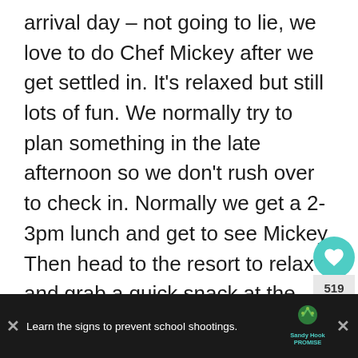arrival day – not going to lie, we love to do Chef Mickey after we get settled in. It's relaxed but still lots of fun. We normally try to plan something in the late afternoon so we don't rush over to check in. Normally we get a 2-3pm lunch and get to see Mickey. Then head to the resort to relax and grab a quick snack at the resort around dinner time.
I really wish there was Character Dining at Disney Springs, but so far, there are only at the Resorts.
[Figure (screenshot): Advertisement banner: Sandy Hook Promise ad with text 'Learn the signs to prevent school shootings.' with logo and close buttons. Below the ad is a partial row with text fragments.]